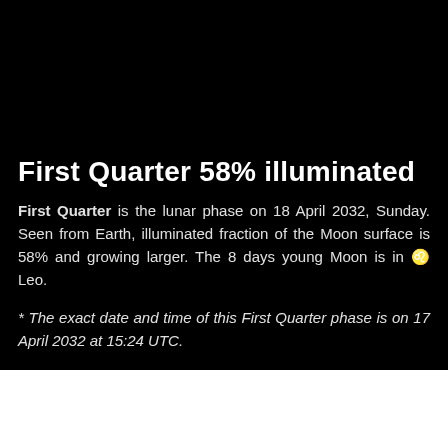First Quarter 58% illuminated
First Quarter is the lunar phase on 18 April 2032, Sunday. Seen from Earth, illuminated fraction of the Moon surface is 58% and growing larger. The 8 days young Moon is in ♌ Leo.
* The exact date and time of this First Quarter phase is on 17 April 2032 at 15:24 UTC.